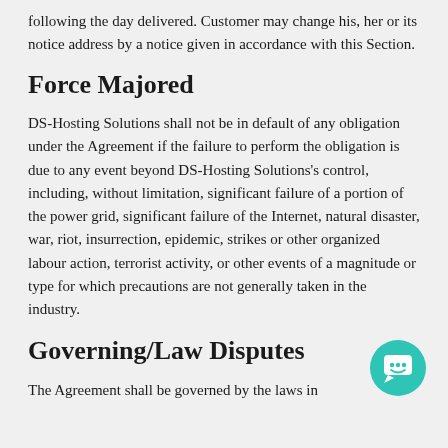following the day delivered. Customer may change his, her or its notice address by a notice given in accordance with this Section.
Force Majored
DS-Hosting Solutions shall not be in default of any obligation under the Agreement if the failure to perform the obligation is due to any event beyond DS-Hosting Solutions's control, including, without limitation, significant failure of a portion of the power grid, significant failure of the Internet, natural disaster, war, riot, insurrection, epidemic, strikes or other organized labour action, terrorist activity, or other events of a magnitude or type for which precautions are not generally taken in the industry.
Governing/Law Disputes
The Agreement shall be governed by the laws in
[Figure (illustration): Teal circular chat/support icon with a smiley face speech bubble symbol]